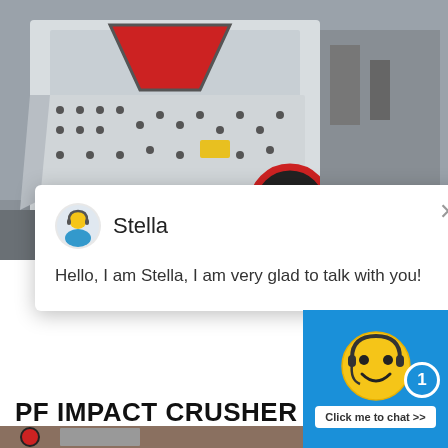[Figure (photo): Large white industrial impact crusher machine in a factory/workshop setting, showing heavy machinery with bolted steel panels and a red-accented feed opening.]
[Figure (screenshot): Chat popup overlay with avatar of a customer service agent labeled 'Stella', message: 'Hello, I am Stella, I am very glad to talk with you!', with an X close button.]
PF IMPACT CRUSHER
PF Series Impact Crusher can make fine crushed products of cubic shape witho...
[Figure (screenshot): Right sidebar widget showing a yellow smiley face with headphones on a blue background, a notification badge with '1', and a 'Click me to chat >>' button. Below it an 'Enquiry' bar and 'cywaitml @gmail.com' contact info.]